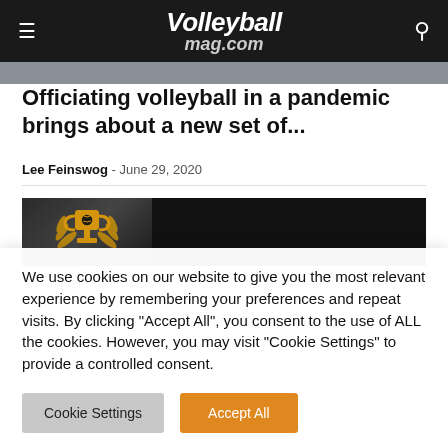Volleyballmag.com
[Figure (photo): Partial top image strip showing article photo, cropped]
Officiating volleyball in a pandemic brings about a new set of...
Lee Feinswog - June 29, 2020
[Figure (photo): Dark banner image with gold trophy/volleyball logo on the left and dark background with faint text on the right]
We use cookies on our website to give you the most relevant experience by remembering your preferences and repeat visits. By clicking "Accept All", you consent to the use of ALL the cookies. However, you may visit "Cookie Settings" to provide a controlled consent.